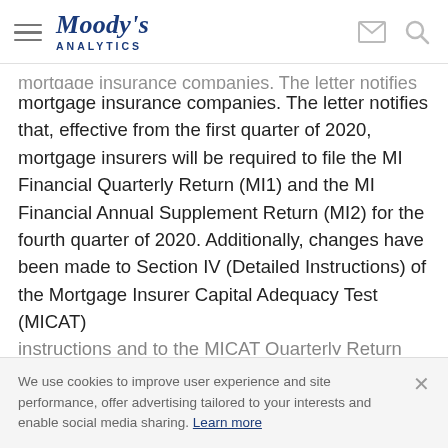[Figure (logo): Moody's Analytics logo with hamburger menu, envelope icon, and search icon]
mortgage insurance companies. The letter notifies that, effective from the first quarter of 2020, mortgage insurers will be required to file the MI Financial Quarterly Return (MI1) and the MI Financial Annual Supplement Return (MI2) for the fourth quarter of 2020. Additionally, changes have been made to Section IV (Detailed Instructions) of the Mortgage Insurer Capital Adequacy Test (MICAT) instructions and to the MICAT Quarterly Return
We use cookies to improve user experience and site performance, offer advertising tailored to your interests and enable social media sharing. Learn more